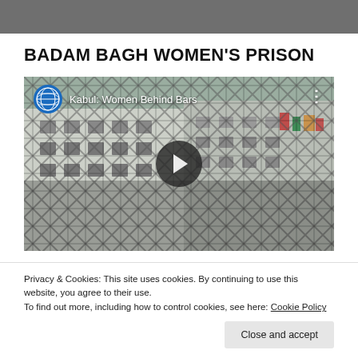[Figure (photo): Top partial photo — dark/grayscale image cropped at top edge]
BADAM BAGH WOMEN'S PRISON
[Figure (screenshot): Embedded video thumbnail: 'Kabul: Women Behind Bars' — UN logo, chain-link fence in front of building, play button in center]
Privacy & Cookies: This site uses cookies. By continuing to use this website, you agree to their use.
To find out more, including how to control cookies, see here: Cookie Policy
Close and accept